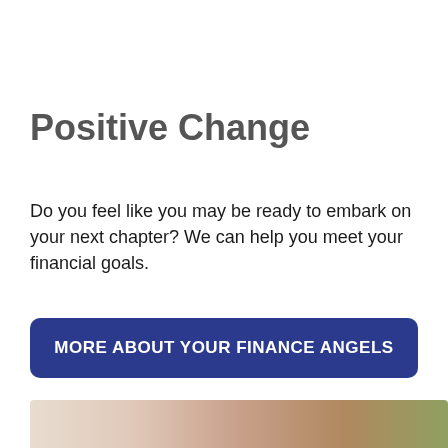Positive Change
Do you feel like you may be ready to embark on your next chapter? We can help you meet your financial goals.
MORE ABOUT YOUR FINANCE ANGELS
[Figure (photo): Partial photo strip at the bottom of the page, showing a cropped image of people, visible only as a narrow horizontal band]